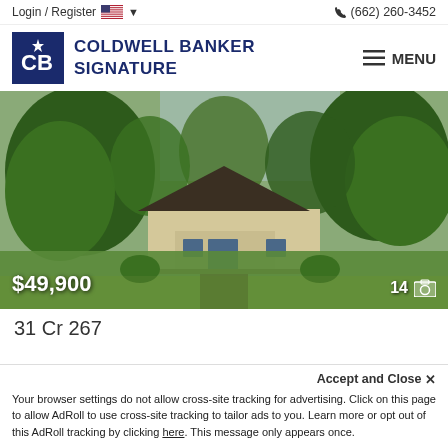Login / Register  (662) 260-3452
[Figure (logo): Coldwell Banker Signature logo with dark blue CB monogram in a square and MENU hamburger icon]
[Figure (photo): Exterior photo of a small ranch-style house with beige siding and dark roof, surrounded by large green trees and a green lawn. Price overlay shows $49,900 and photo count shows 14.]
31 Cr 267
Accept and Close ×
Your browser settings do not allow cross-site tracking for advertising. Click on this page to allow AdRoll to use cross-site tracking to tailor ads to you. Learn more or opt out of this AdRoll tracking by clicking here. This message only appears once.